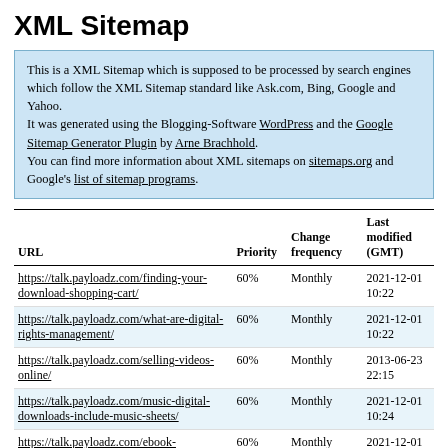XML Sitemap
This is a XML Sitemap which is supposed to be processed by search engines which follow the XML Sitemap standard like Ask.com, Bing, Google and Yahoo. It was generated using the Blogging-Software WordPress and the Google Sitemap Generator Plugin by Arne Brachhold. You can find more information about XML sitemaps on sitemaps.org and Google's list of sitemap programs.
| URL | Priority | Change frequency | Last modified (GMT) |
| --- | --- | --- | --- |
| https://talk.payloadz.com/finding-your-download-shopping-cart/ | 60% | Monthly | 2021-12-01 10:22 |
| https://talk.payloadz.com/what-are-digital-rights-management/ | 60% | Monthly | 2021-12-01 10:22 |
| https://talk.payloadz.com/selling-videos-online/ | 60% | Monthly | 2013-06-23 22:15 |
| https://talk.payloadz.com/music-digital-downloads-include-music-sheets/ | 60% | Monthly | 2021-12-01 10:24 |
| https://talk.payloadz.com/ebook-... | 60% | Monthly | 2021-12-01 ... |